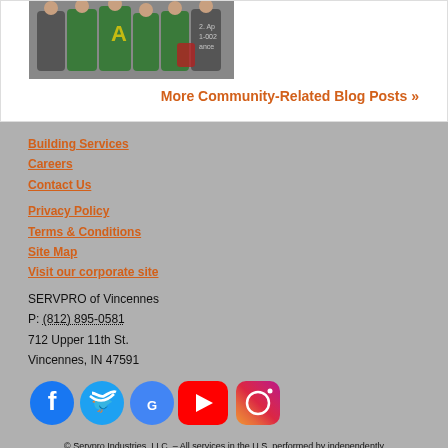[Figure (photo): Group of people in green shirts standing together outdoors, partially cropped]
More Community-Related Blog Posts »
Building Services
Careers
Contact Us
Privacy Policy
Terms & Conditions
Site Map
Visit our corporate site
SERVPRO of Vincennes
P: (812) 895-0581
712 Upper 11th St.
Vincennes, IN 47591
[Figure (logo): Social media icons: Facebook, Twitter, Google, YouTube, Instagram]
© Servpro Industries, LLC. – All services in the U.S. performed by independently owned and operated franchises of Servpro Industries, LLC.
© Servpro Industries (Canada) ULC – All services in Canada performed by independently owned and operated franchises of Servpro Industries (Canada) ULC.